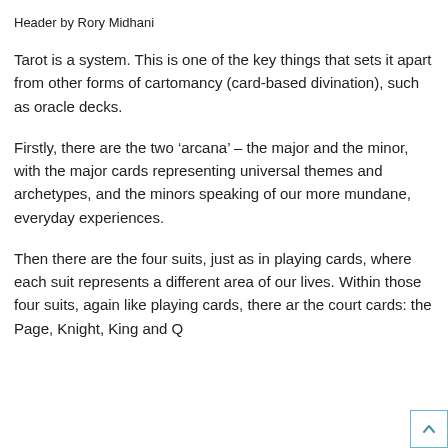Header by Rory Midhani
Tarot is a system. This is one of the key things that sets it apart from other forms of cartomancy (card-based divination), such as oracle decks.
Firstly, there are the two ‘arcana’ – the major and the minor, with the major cards representing universal themes and archetypes, and the minors speaking of our more mundane, everyday experiences.
Then there are the four suits, just as in playing cards, where each suit represents a different area of our lives. Within those four suits, again like playing cards, there ar the court cards: the Page, Knight, King and Q...